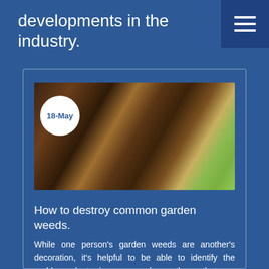developments in the industry.
[Figure (photo): Close-up photo of garden soil with weed seedlings, roots, and organic debris visible, with green mesh or fabric on the right side. A circular white date badge reading '18-May' overlays the top-left of the image.]
How to destroy common garden weeds.
While one person's garden weeds are another's decoration, it's helpful to be able to identify the problem plants in your garden - those that are depriving other plants of light, space and nutrients. This handy guide teaches you how to identify and control weeds for a cleaner, healthier garden.
PROJECT